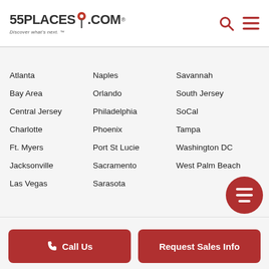55PLACES.COM — Discover what's next.
Atlanta
Bay Area
Central Jersey
Charlotte
Ft. Myers
Jacksonville
Las Vegas
Naples
Orlando
Philadelphia
Phoenix
Port St Lucie
Sacramento
Sarasota
Savannah
South Jersey
SoCal
Tampa
Washington DC
West Palm Beach